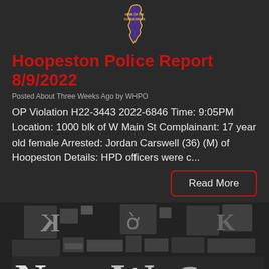[Figure (logo): Illinois state outline logo with 'Home of the Cornjerkers' text in gold/yellow on dark background]
Hoopeston Police Report 8/9/2022
Posted About Three Weeks Ago by WHPO
OP Violation H22-3443 2022-6846 Time: 9:05PM Location: 1000 blk of W Main St Complainant: 17 year old female Arrested: Jordan Carswell (36) (M) of Hoopeston Details: HPD officers were c...
Read More
[Figure (photo): Black and white photo of metal letterpress type blocks spelling 'News']